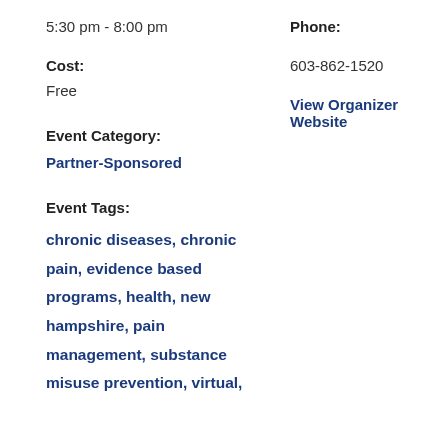5:30 pm - 8:00 pm
Phone:
Cost:
603-862-1520
Free
View Organizer Website
Event Category:
Partner-Sponsored
Event Tags:
chronic diseases, chronic pain, evidence based programs, health, new hampshire, pain management, substance misuse prevention, virtual,